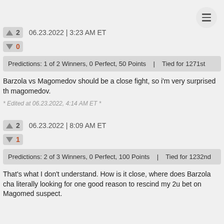06.23.2022 | 3:23 AM ET
Predictions: 1 of 2 Winners, 0 Perfect, 50 Points   |   Tied for 1271st
Barzola vs Magomedov should be a close fight, so i'm very surprised th magomedov.
* Edited at 06.23.2022, 4:14 AM ET *
06.23.2022 | 8:09 AM ET
Predictions: 2 of 3 Winners, 0 Perfect, 100 Points   |   Tied for 1232nd
That's what I don't understand. How is it close, where does Barzola cha literally looking for one good reason to rescind my 2u bet on Magomed suspect.